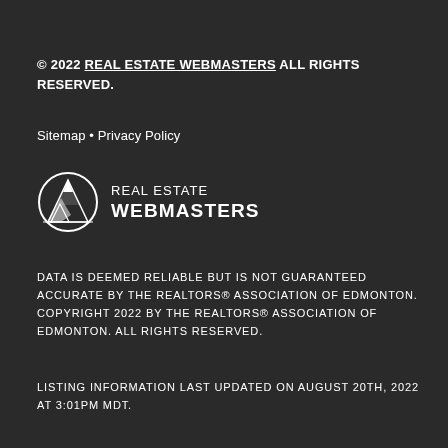© 2022 REAL ESTATE WEBMASTERS ALL RIGHTS RESERVED.
Sitemap • Privacy Policy
[Figure (logo): Real Estate Webmasters logo with mountain/landscape icon and text 'REAL ESTATE WEBMASTERS']
DATA IS DEEMED RELIABLE BUT IS NOT GUARANTEED ACCURATE BY THE REALTORS® ASSOCIATION OF EDMONTON. COPYRIGHT 2022 BY THE REALTORS® ASSOCIATION OF EDMONTON. ALL RIGHTS RESERVED.
LISTING INFORMATION LAST UPDATED ON AUGUST 20TH, 2022 AT 3:01PM MDT.